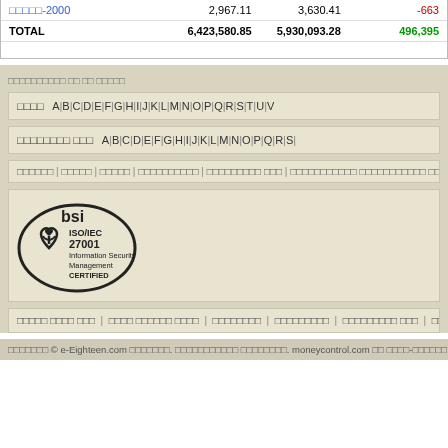|  |  |  |  |
| --- | --- | --- | --- |
| □□□□□-2000 | 2,967.11 | 3,630.41 | -663 |
| TOTAL | 6,423,580.85 | 5,930,093.28 | 496,395 |
□□□□□□□□□□ □□ □□ □□□□□
□□□□  A|B|C|D|E|F|G|H|I|J|K|L|M|N|O|P|Q|R|S|T|U|V
□□□□□□□□ □□□  A|B|C|D|E|F|G|H|I|J|K|L|M|N|O|P|Q|R|S|
□□□□□□ | □□□□□ | □□□□□ | □□□□□□□□□□ | □□□□□□□□□ □□□ | □□□□□□□□□□□ □□□□□□□□□□□ □□□□□□ | □□□ | □□□□□□□
[Figure (logo): BSI ISO/IEC 27001 Information Security Management CERTIFIED logo]
□□□□□ □□□□ □□□ | □□□□ □□□□□□ □□□□ | □□□□□□□□ | □□□□□□□□□ | □□□□□□□□□ □□□ | □□□□□ □□ □□□□□□ |
□□□□□□□ © e-Eighteen.com □□□□□□□. □□□□□□□□□□□ □□□□□□□□. moneycontrol.com □□ □□□□-□□□□□□ □□ □□□